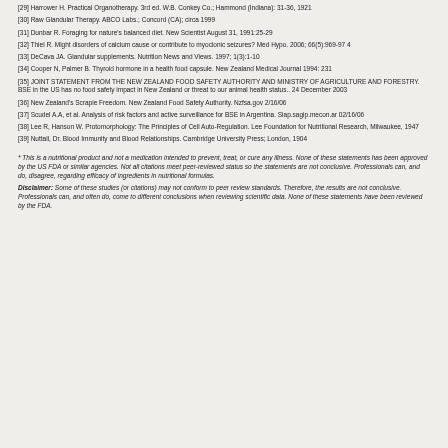[29] Harrower H. Practical Organotherapy. 3rd ed. W.B. Conkey Co.; Hammond (Indiana): 31-36, 1921
[30] Raw Glandular Therapy. ABCO Labs.; Concord (CA); circa 1999
[31] Dunbar R. Foraging for nature's balanced diet. New Scientist August 31, 1991:25-29
[32] Thiel R. Might disorders of calcium cause or contribute to myoclonic seizures? Med Hypo. 2006; 66(5):969-97 4
[33] DeCava JA. Glandular supplements. Nutrition News and Views. 1997; 1(3):1-10
[34] Cooper N, Palmer B. Thyroid hormone in a health food capsule. New Zealand Medical Journal 1994: 231
[35] JOINT STATEMENT FROM THE NEW ZEALAND FOOD SAFETY AUTHORITY AND MINISTRY OF AGRICULTURE AND FORESTRY. BSE in the US has no food safety impact in New Zealand or threat to our animal health status.. 24 December 2003
[36] New Zealand's Scrapie Freedom. New Zealand Food Safety Authority. Nzfsa.gov 2/16/06
[37] Scudel A.A, et al. Analysis of risk factors and active surveillance for BSE in Argentina. Siap.sagip.mecon.ar 02/16/06
[38] Lee R, Hanson W. Protomorphology: The Principles of Cell Auto-Regulation. Lee Foundation for Nutritional Research, Milwaukee, 1947
[39] Nuttall, Dr. Blood Immunity and Blood Relationships. Cambridge University Press; London, 1904
* This is a nutritional product and not a medication intended to prevent, treat, or cure any illness. None of these statements has been approved by the US FDA or similar agencies. Not all citations meet peer-reviewed status so the statements are not conclusive. Professionals can, and do, disagree, regarding efficacy of ingredients in nutritional formulas.
Disclaimer: Some of these studies (or citations) may not conform to peer review standards. Therefore, the results are not conclusive. Professionals can, and often do, come to different conclusions when reviewing scientific data. None of these statements have been reviewed by the FDA.